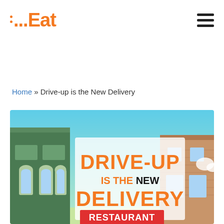...Eat (logo) with hamburger menu
Home » Drive-up is the New Delivery
[Figure (illustration): Infographic showing a restaurant building with text overlay: DRIVE-UP IS THE NEW DELIVERY, with RESTAURANT label at bottom. Teal/sky background with illustrated building facade featuring arched windows and brick elements.]